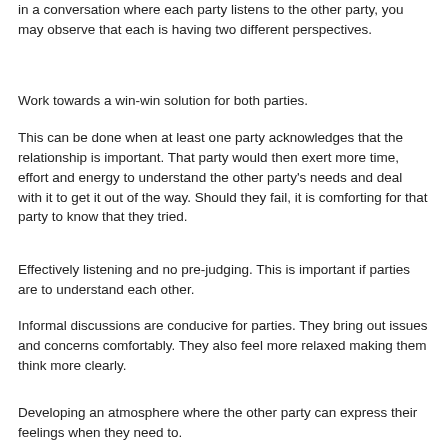in a conversation where each party listens to the other party, you may observe that each is having two different perspectives.
Work towards a win-win solution for both parties.
This can be done when at least one party acknowledges that the relationship is important. That party would then exert more time, effort and energy to understand the other party's needs and deal with it to get it out of the way. Should they fail, it is comforting for that party to know that they tried.
Effectively listening and no pre-judging. This is important if parties are to understand each other.
Informal discussions are conducive for parties. They bring out issues and concerns comfortably. They also feel more relaxed making them think more clearly.
Developing an atmosphere where the other party can express their feelings when they need to.